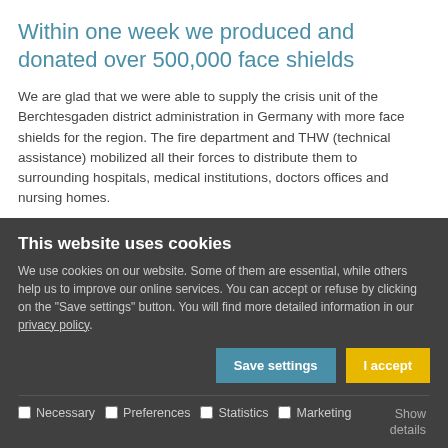Within one week we produced and donated over 500,000 face shields
We are glad that we were able to supply the crisis unit of the Berchtesgaden district administration in Germany with more face shields for the region. The fire department and THW (technical assistance) mobilized all their forces to distribute them to surrounding hospitals, medical institutions, doctors offices and nursing homes.
As previously announced, in addition to the Berchtesgaden district, we also provided the hospital in Traunstein with over 100,000 face shields and the first shields have been distributed to the Altötting/Mühldorf district.
This website uses cookies
We use cookies on our website. Some of them are essential, while others help us to improve our online services. You can accept or refuse by clicking on the "Save settings" button. You will find more detailed information in our privacy policy.